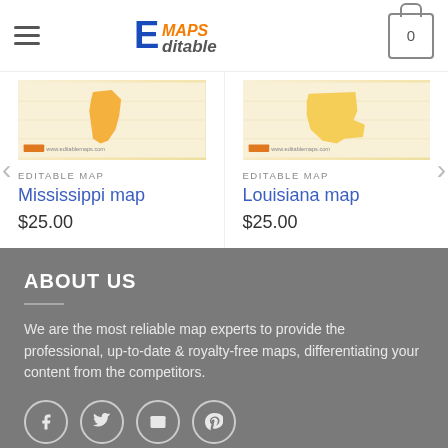E-Maps Editable — navigation header with logo and cart
[Figure (screenshot): Mississippi map product thumbnail — orange/yellow map shape on light background]
EDITABLE MAP
Mississippi map
$25.00
[Figure (screenshot): Louisiana map product thumbnail — orange/yellow map shape on light background]
EDITABLE MAP
Louisiana map
$25.00
ABOUT US
We are the most reliable map experts to provide the professional, up-to-date & royalty-free maps, differentiating your content from the competitors.